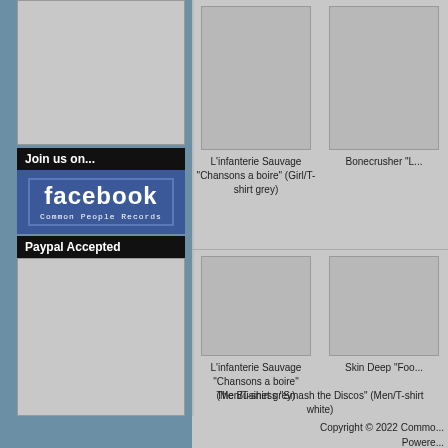[Figure (illustration): Grey placeholder image box in left column top]
Join us on...
[Figure (logo): Facebook logo box with text 'facebook' and 'Common People Records']
Paypal Accepted
[Figure (illustration): Grey placeholder image box in left column bottom]
[Figure (photo): Product image placeholder top left]
L'infanterie Sauvage "Chansons a boire" (Girl/T-shirt grey)
[Figure (photo): Product image placeholder top right]
Bonecrusher "L...
[Figure (photo): Product image placeholder mid left]
L'infanterie Sauvage "Chansons a boire" (Men/T-shirt grey)
[Figure (photo): Product image placeholder mid right]
Skin Deep "Foo...
[Figure (photo): Product image placeholder bottom center]
The Business "Smash the Discos" (Men/T-shirt white)
Copyright © 2022 Commo... Powere...